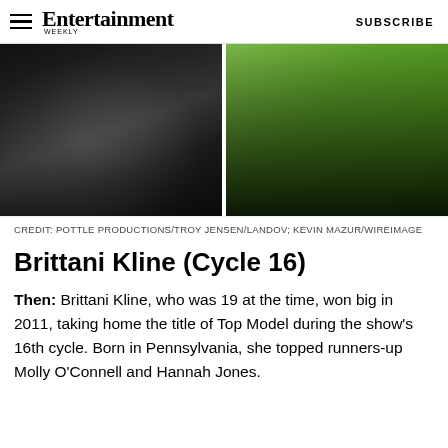Entertainment Weekly | SUBSCRIBE
[Figure (photo): Two photos side by side: left shows a person in a black sequin dress; right shows a person in a black pleated dress against a green background]
CREDIT: POTTLE PRODUCTIONS/TROY JENSEN/LANDOV; KEVIN MAZUR/WIREIMAGE
Brittani Kline (Cycle 16)
Then: Brittani Kline, who was 19 at the time, won big in 2011, taking home the title of Top Model during the show's 16th cycle. Born in Pennsylvania, she topped runners-up Molly O'Connell and Hannah Jones.